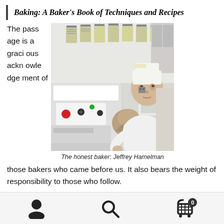Baking: A Baker's Book of Techniques and Recipes
The passage is a gracious acknowledgement of those bakers who came before us. It also bears the weight of responsibility to those who follow.
[Figure (photo): A baker wearing a white paper hat and white t-shirt stands next to commercial bakery equipment with control panels and buttons. Clipboards with papers hang on the wall behind him.]
The honest baker: Jeffrey Hamelman
Navigation icons: user, search, cart (0)